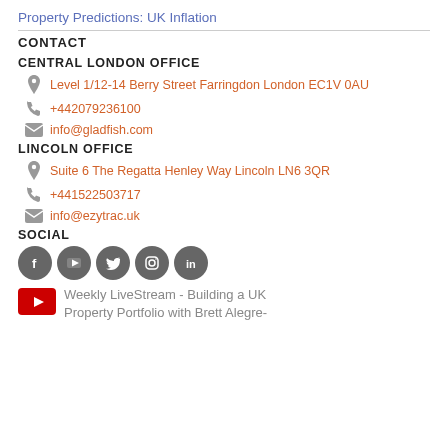Property Predictions: UK Inflation
CONTACT
CENTRAL LONDON OFFICE
Level 1/12-14 Berry Street Farringdon London EC1V 0AU
+442079236100
info@gladfish.com
LINCOLN OFFICE
Suite 6 The Regatta Henley Way Lincoln LN6 3QR
+441522503717
info@ezytrac.uk
SOCIAL
[Figure (infographic): Social media icons: Facebook, YouTube, Twitter, Instagram, LinkedIn]
Weekly LiveStream - Building a UK Property Portfolio with Brett Alegre-